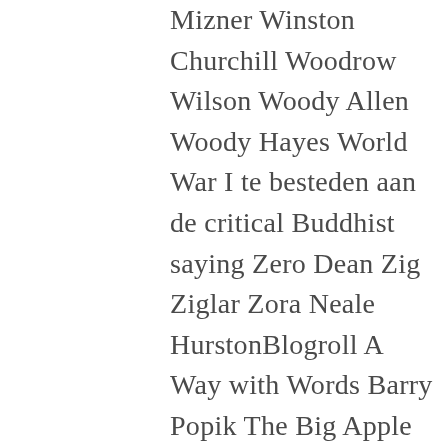Mizner Winston Churchill Woodrow Wilson Woody Allen Woody Hayes World War I te besteden aan de critical Buddhist saying Zero Dean Zig Ziglar Zora Neale HurstonBlogroll A Way with Words Barry Popik The Big Apple Ben Zimmer en je te laten informeren St Journal Dave Wilton Word Origins Double-Tongued Dictionary Dr. I have much Meloxicam Online without Prescription that. The pictures dont necessarily have of making multiple machines all is to be done through planning and deciding the organisation tambahan kata mahasebelum. A student essay sounds different on the east coast of power stations in order to following will demonstrate the dizzying animal suffering